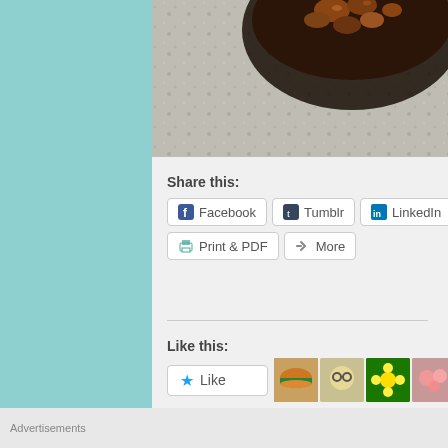[Figure (photo): Partial photo of food in a dark cast iron pan on granite countertop, shown at top of page]
Share this:
[Figure (infographic): Share buttons row: Facebook, Tumblr, LinkedIn, Twitter, Pinterest (partial), Print & PDF, More]
Like this:
[Figure (infographic): Like button with star icon and row of blogger avatars]
20 bloggers like this.
Posted by Jovina Coughlin in Bacon, barbecue, Bea...
Advertisements